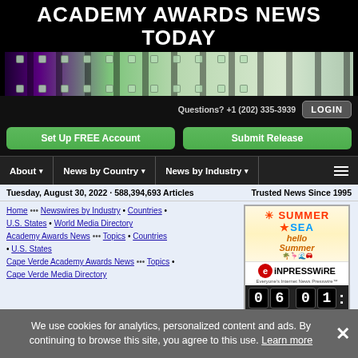ACADEMY AWARDS NEWS TODAY
[Figure (photo): Film strip banner image with purple and green tones]
Questions? +1 (202) 335-3939
LOGIN
Set Up FREE Account
Submit Release
About ▾  News by Country ▾  News by Industry ▾  ☰
Tuesday, August 30, 2022 · 588,394,693 Articles
Trusted News Since 1995
Home ••• Newswires by Industry • Countries • U.S. States • World Media Directory Academy Awards News ••• Topics • Countries • U.S. States Cape Verde Academy Awards News ••• Topics • Cape Verde Media Directory
[Figure (infographic): EINPresswire advertisement with summer theme showing hello Summer text, flamingo, beach icons, EINPresswire logo and countdown digits 0 6 0 1]
CAPE VERDE
We use cookies for analytics, personalized content and ads. By continuing to browse this site, you agree to this use. Learn more